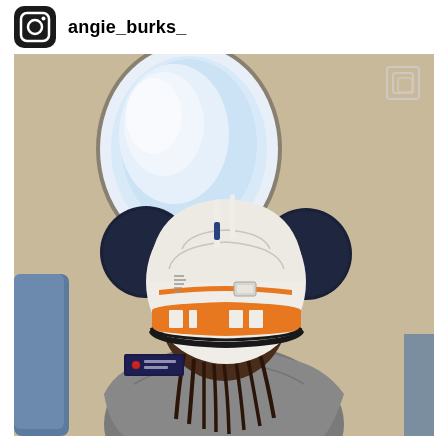angie_burks_
[Figure (photo): Child sitting in an airplane seat, viewed from behind, wearing a BB-8 themed Mickey Mouse ears hat (white and orange with blue accents and antenna), looking out the airplane window.]